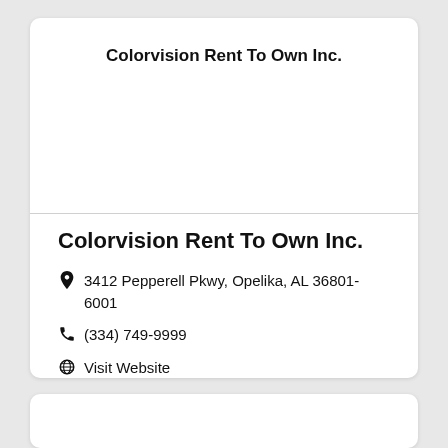Colorvision Rent To Own Inc.
Colorvision Rent To Own Inc.
3412 Pepperell Pkwy, Opelika, AL 36801-6001
(334) 749-9999
Visit Website
Rental Dealer